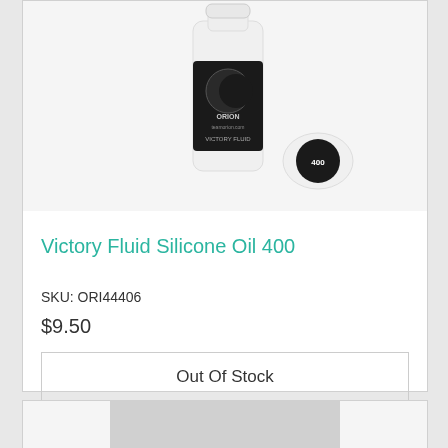[Figure (photo): A small white bottle of Victory Fluid Silicone Oil 400 with a black label showing the Orion brand logo, and its white cap lying next to it with '400' printed on the cap.]
Victory Fluid Silicone Oil 400
SKU: ORI44406
$9.50
Out Of Stock
[Figure (photo): Partially visible product image at the bottom of the page (cropped).]